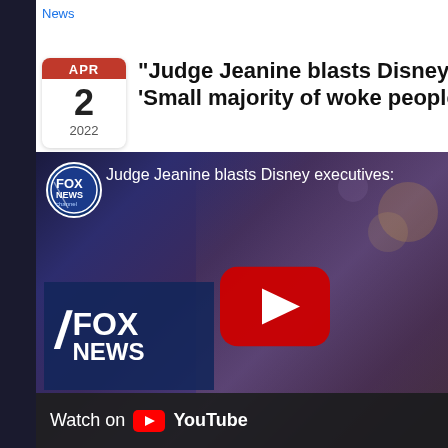News
APR 2 2022
“Judge Jeanine blasts Disney e… ‘Small majority of woke people’…
[Figure (screenshot): Fox News video thumbnail showing Judge Jeanine Pirro with Fox News channel logo overlay, YouTube play button, Fox News watermark, and 'Watch on YouTube' bar at bottom. Caption text reads 'Judge Jeanine blasts Disney executives:']